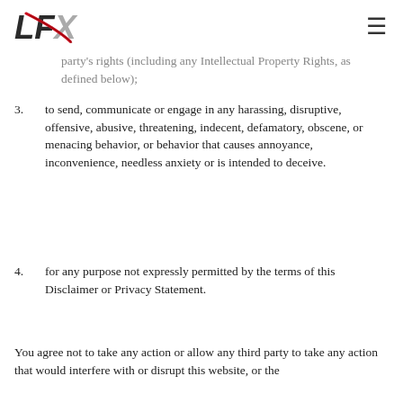LFX logo and hamburger menu
party's rights (including any Intellectual Property Rights, as defined below);
3. to send, communicate or engage in any harassing, disruptive, offensive, abusive, threatening, indecent, defamatory, obscene, or menacing behavior, or behavior that causes annoyance, inconvenience, needless anxiety or is intended to deceive.
4. for any purpose not expressly permitted by the terms of this Disclaimer or Privacy Statement.
You agree not to take any action or allow any third party to take any action that would interfere with or disrupt this website, or the